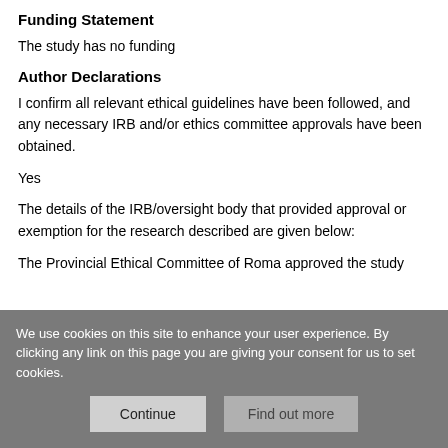Funding Statement
The study has no funding
Author Declarations
I confirm all relevant ethical guidelines have been followed, and any necessary IRB and/or ethics committee approvals have been obtained.
Yes
The details of the IRB/oversight body that provided approval or exemption for the research described are given below:
The Provincial Ethical Committee of Roma approved the study
We use cookies on this site to enhance your user experience. By clicking any link on this page you are giving your consent for us to set cookies.